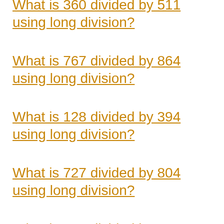What is 360 divided by 511 using long division?
What is 767 divided by 864 using long division?
What is 128 divided by 394 using long division?
What is 727 divided by 804 using long division?
What is 998 divided by 1000 using long division?